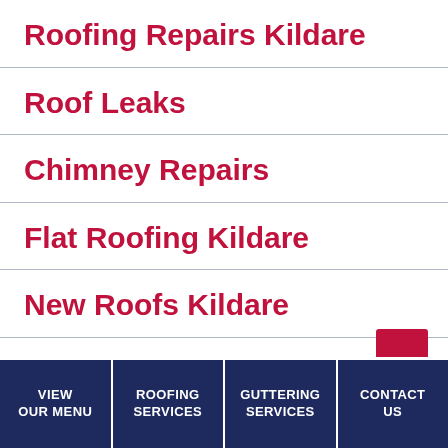Roofing Repairs Kildare
Roof Leaks
Chimney Repairs
Flat Roofing Kildare
New Roofs Kildare
Fibreglass Roofs
Asbestos Removal
VIEW OUR MENU | ROOFING SERVICES | GUTTERING SERVICES | CONTACT US